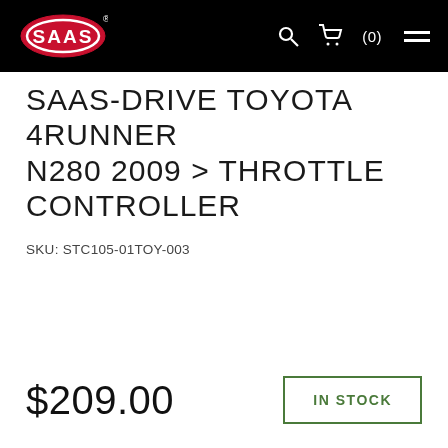SAAS logo, search, cart (0), menu
SAAS-DRIVE TOYOTA 4RUNNER N280 2009 > THROTTLE CONTROLLER
SKU: STC105-01TOY-003
$209.00
IN STOCK